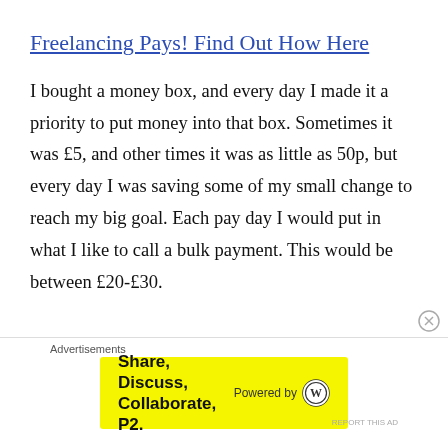Freelancing Pays! Find Out How Here
I bought a money box, and every day I made it a priority to put money into that box. Sometimes it was £5, and other times it was as little as 50p, but every day I was saving some of my small change to reach my big goal. Each pay day I would put in what I like to call a bulk payment. This would be between £20-£30.
Advertisements
Share, Discuss, Collaborate, P2. Powered by WordPress